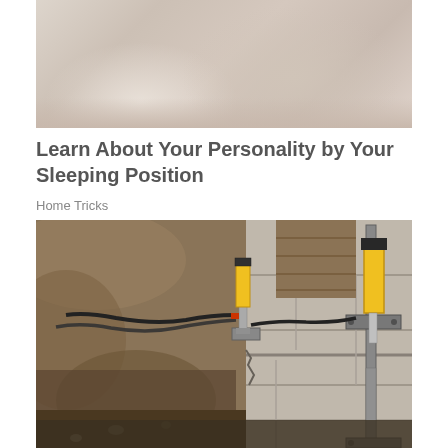[Figure (photo): Partial photo of a person sleeping, showing upper body/shoulder area with soft fabric, light beige/neutral tones. Image is cropped at the top.]
Learn About Your Personality by Your Sleeping Position
Home Tricks
[Figure (photo): Construction/engineering photo showing foundation repair work. Yellow hydraulic jacks/piers are installed against a concrete block foundation wall. Excavated dirt trench is visible on the left, with black hydraulic hoses/cables running between the equipment. The foundation shows cracking at the base.]